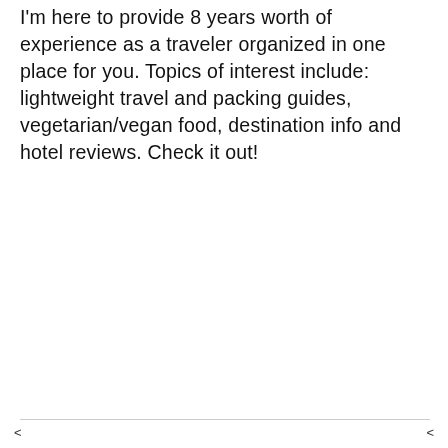I'm here to provide 8 years worth of experience as a traveler organized in one place for you. Topics of interest include: lightweight travel and packing guides, vegetarian/vegan food, destination info and hotel reviews. Check it out!
< >